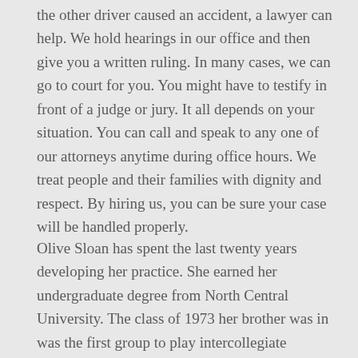the other driver caused an accident, a lawyer can help. We hold hearings in our office and then give you a written ruling. In many cases, we can go to court for you. You might have to testify in front of a judge or jury. It all depends on your situation. You can call and speak to any one of our attorneys anytime during office hours. We treat people and their families with dignity and respect. By hiring us, you can be sure your case will be handled properly.
Olive Sloan has spent the last twenty years developing her practice. She earned her undergraduate degree from North Central University. The class of 1973 her brother was in was the first group to play intercollegiate lacrosse. During this time she was a member of many